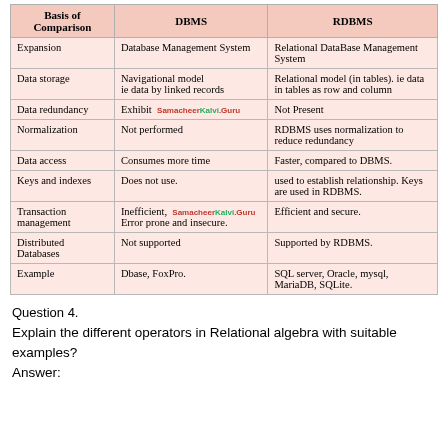| Basis of Comparison | DBMS | RDBMS |
| --- | --- | --- |
| Expansion | Database Management System | Relational DataBase Management System |
| Data storage | Navigational model
ie data by linked records | Relational model (in tables). ie data in tables as row and column |
| Data redundancy | Exhibit [SamacheerKalvi.Guru] | Not Present |
| Normalization | Not performed | RDBMS uses normalization to reduce redundancy |
| Data access | Consumes more time | Faster, compared to DBMS. |
| Keys and indexes | Does not use. | used to establish relationship. Keys are used in RDBMS. |
| Transaction management | Inefficient, [SamacheerKalvi.Guru] Error prone and insecure. | Efficient and secure. |
| Distributed Databases | Not supported | Supported by RDBMS. |
| Example | Dbase, FoxPro. | SQL server, Oracle, mysql, MariaDB, SQLite. |
Question 4.
Explain the different operators in Relational algebra with suitable examples?
Answer: